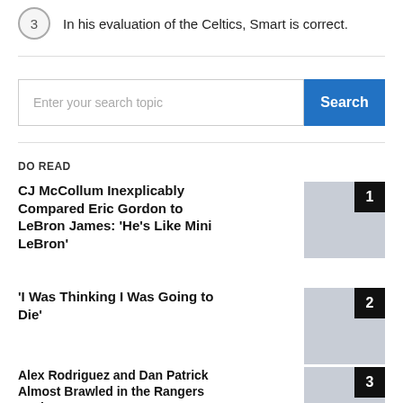3  In his evaluation of the Celtics, Smart is correct.
Enter your search topic
DO READ
CJ McCollum Inexplicably Compared Eric Gordon to LeBron James: ‘He’s Like Mini LeBron’
‘I Was Thinking I Was Going to Die’
Alex Rodriguez and Dan Patrick Almost Brawled in the Rangers Locker Room as...